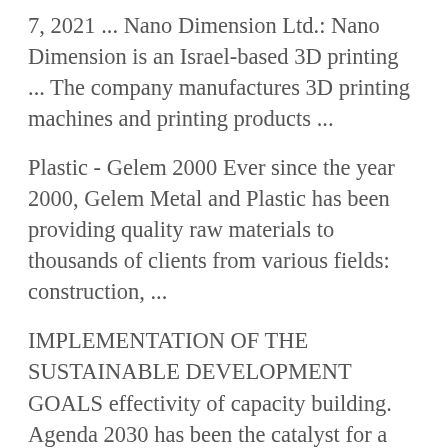7, 2021 ... Nano Dimension Ltd.: Nano Dimension is an Israel-based 3D printing ... The company manufactures 3D printing machines and printing products ...
Plastic - Gelem 2000 Ever since the year 2000, Gelem Metal and Plastic has been providing quality raw materials to thousands of clients from various fields: construction, ...
IMPLEMENTATION OF THE SUSTAINABLE DEVELOPMENT GOALS effectivity of capacity building. Agenda 2030 has been the catalyst for a fruitful process in Israel which will continue to develop and progress over time.
Israel Proves the Desalination Era Is Here - Scientific American Jul 29, 2016 ... Israel now gets 55 percent of its domestic water from desalination, ... The cylinders